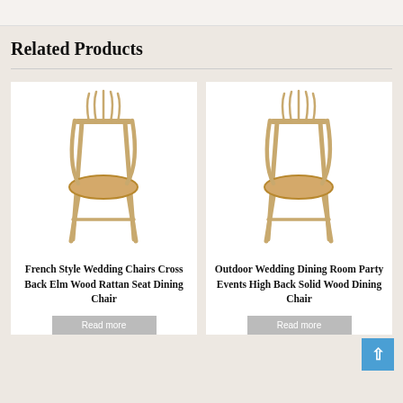Related Products
[Figure (photo): French Style Wedding Chair with cross back elm wood and rattan seat, natural wood color, photographed on white background]
French Style Wedding Chairs Cross Back Elm Wood Rattan Seat Dining Chair
[Figure (photo): Outdoor Wedding Dining Room high back solid wood chair with rattan seat, natural wood color, photographed on white background]
Outdoor Wedding Dining Room Party Events High Back Solid Wood Dining Chair